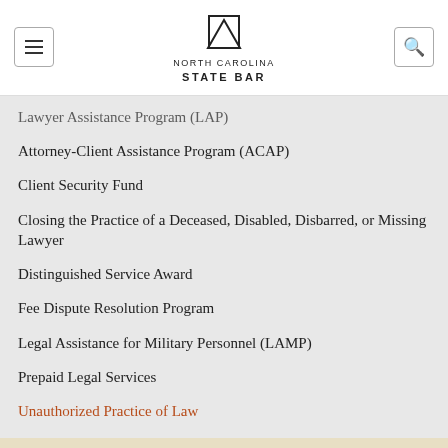North Carolina State Bar
Lawyer Assistance Program (LAP)
Attorney-Client Assistance Program (ACAP)
Client Security Fund
Closing the Practice of a Deceased, Disabled, Disbarred, or Missing Lawyer
Distinguished Service Award
Fee Dispute Resolution Program
Legal Assistance for Military Personnel (LAMP)
Prepaid Legal Services
Unauthorized Practice of Law
POPULAR FORMS
Pro Member Application for CLE Credit